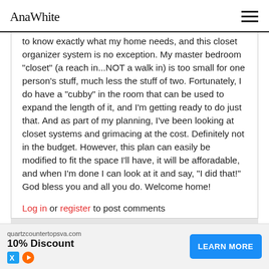Ana White [logo] [hamburger menu]
to know exactly what my home needs, and this closet organizer system is no exception. My master bedroom "closet" (a reach in...NOT a walk in) is too small for one person's stuff, much less the stuff of two. Fortunately, I do have a "cubby" in the room that can be used to expand the length of it, and I'm getting ready to do just that. And as part of my planning, I've been looking at closet systems and grimacing at the cost. Definitely not in the budget. However, this plan can easily be modified to fit the space I'll have, it will be afforadable, and when I'm done I can look at it and say, "I did that!" God bless you and all you do. Welcome home!
Log in or register to post comments
[Figure (screenshot): Advertisement banner: quartzcountertopsva.com 10% Discount with LEARN MORE button]